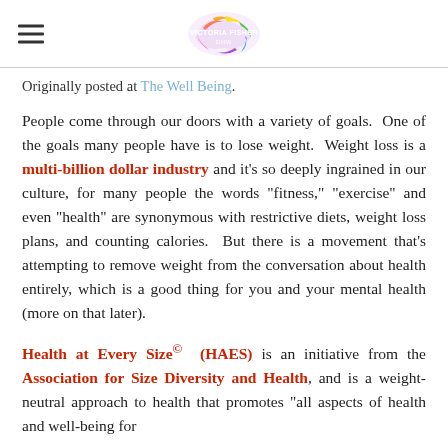Victoria Fisher | Victoria Fisher DNW logo
Originally posted at The Well Being.
People come through our doors with a variety of goals. One of the goals many people have is to lose weight. Weight loss is a multi-billion dollar industry and it’s so deeply ingrained in our culture, for many people the words “fitness,” “exercise” and even “health” are synonymous with restrictive diets, weight loss plans, and counting calories. But there is a movement that’s attempting to remove weight from the conversation about health entirely, which is a good thing for you and your mental health (more on that later).
Health at Every Size© (HAES) is an initiative from the Association for Size Diversity and Health, and is a weight-neutral approach to health that promotes “all aspects of health and well-being for...